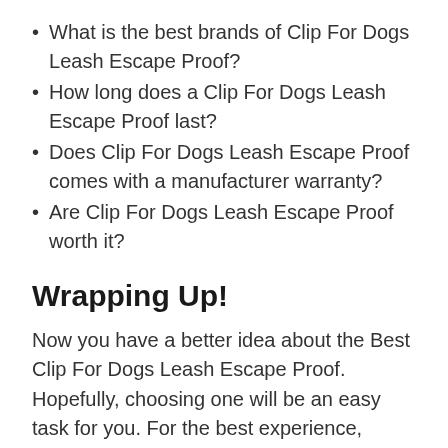What is the best brands of Clip For Dogs Leash Escape Proof?
How long does a Clip For Dogs Leash Escape Proof last?
Does Clip For Dogs Leash Escape Proof comes with a manufacturer warranty?
Are Clip For Dogs Leash Escape Proof worth it?
Wrapping Up!
Now you have a better idea about the Best Clip For Dogs Leash Escape Proof. Hopefully, choosing one will be an easy task for you. For the best experience, follow our advice and recommendations. It will help you find the product.